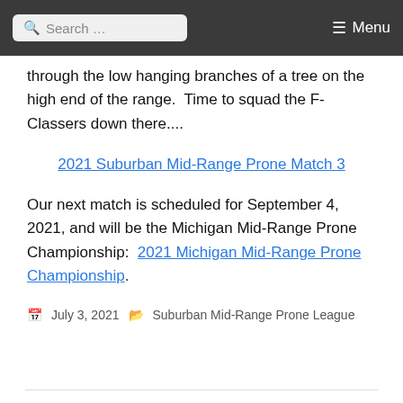Search ... ☰ Menu
through the low hanging branches of a tree on the high end of the range.  Time to squad the F-Classers down there....
2021 Suburban Mid-Range Prone Match 3
Our next match is scheduled for September 4, 2021, and will be the Michigan Mid-Range Prone Championship:  2021 Michigan Mid-Range Prone Championship.
July 3, 2021   Suburban Mid-Range Prone League